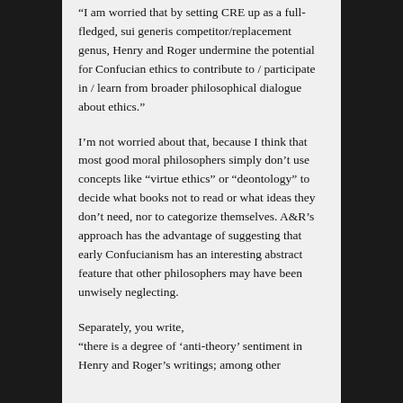“I am worried that by setting CRE up as a full-fledged, sui generis competitor/replacement genus, Henry and Roger undermine the potential for Confucian ethics to contribute to / participate in / learn from broader philosophical dialogue about ethics.”
I’m not worried about that, because I think that most good moral philosophers simply don’t use concepts like “virtue ethics” or “deontology” to decide what books not to read or what ideas they don’t need, nor to categorize themselves. A&R’s approach has the advantage of suggesting that early Confucianism has an interesting abstract feature that other philosophers may have been unwisely neglecting.
Separately, you write, “there is a degree of ‘anti-theory’ sentiment in Henry and Roger’s writings; among other